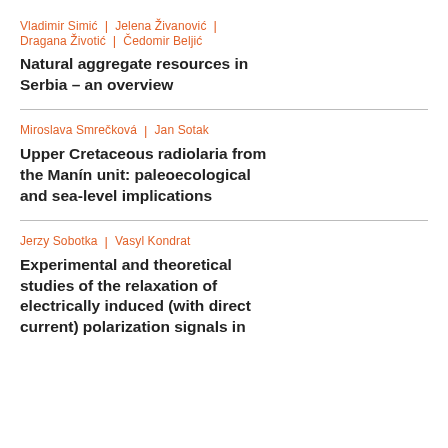Vladimir Simić | Jelena Živanović | Dragana Životić | Čedomir Beljić
Natural aggregate resources in Serbia – an overview
Miroslava Smrečková | Jan Sotak
Upper Cretaceous radiolaria from the Manín unit: paleoecological and sea-level implications
Jerzy Sobotka | Vasyl Kondrat
Experimental and theoretical studies of the relaxation of electrically induced (with direct current) polarization signals in